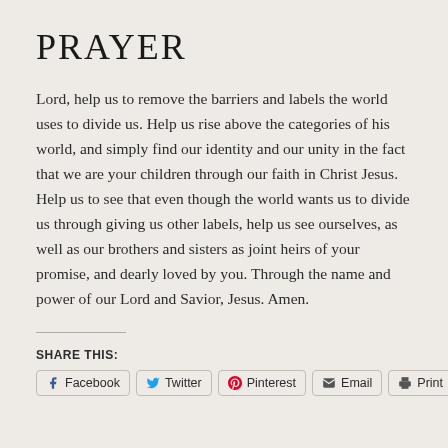PRAYER
Lord, help us to remove the barriers and labels the world uses to divide us. Help us rise above the categories of his world, and simply find our identity and our unity in the fact that we are your children through our faith in Christ Jesus. Help us to see that even though the world wants us to divide us through giving us other labels, help us see ourselves, as well as our brothers and sisters as joint heirs of your promise, and dearly loved by you. Through the name and power of our Lord and Savior, Jesus. Amen.
SHARE THIS:
Facebook | Twitter | Pinterest | Email | Print